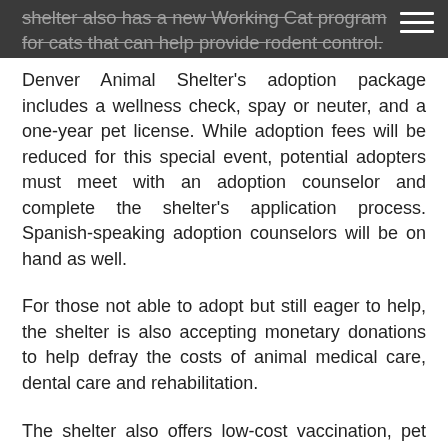shelter also has a new Working Cat program for cats that can help provide rodent control.
Denver Animal Shelter's adoption package includes a wellness check, spay or neuter, and a one-year pet license. While adoption fees will be reduced for this special event, potential adopters must meet with an adoption counselor and complete the shelter's application process. Spanish-speaking adoption counselors will be on hand as well.
For those not able to adopt but still eager to help, the shelter is also accepting monetary donations to help defray the costs of animal medical care, dental care and rehabilitation.
The shelter also offers low-cost vaccination, pet licensing, microchipping and other helpful services.